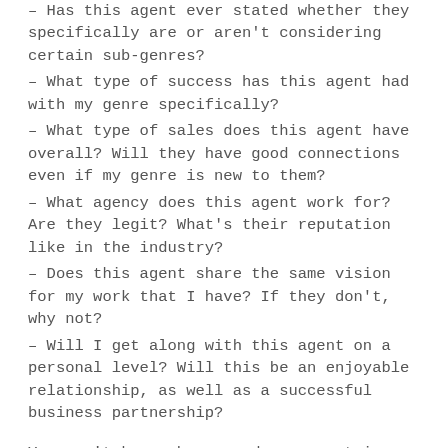– Has this agent ever stated whether they specifically are or aren't considering certain sub-genres?
– What type of success has this agent had with my genre specifically?
– What type of sales does this agent have overall? Will they have good connections even if my genre is new to them?
– What agency does this agent work for? Are they legit? What's their reputation like in the industry?
– Does this agent share the same vision for my work that I have? If they don't, why not?
– Will I get along with this agent on a personal level? Will this be an enjoyable relationship, as well as a successful business partnership?
You won't know who your dream agent is until you